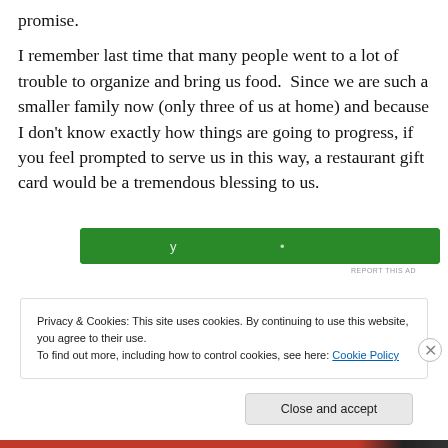promise.
I remember last time that many people went to a lot of trouble to organize and bring us food.  Since we are such a smaller family now (only three of us at home) and because I don't know exactly how things are going to progress, if you feel prompted to serve us in this way, a restaurant gift card would be a tremendous blessing to us.
[Figure (other): Green advertisement banner, partially visible]
REPORT THIS AD
Privacy & Cookies: This site uses cookies. By continuing to use this website, you agree to their use.
To find out more, including how to control cookies, see here: Cookie Policy
Close and accept